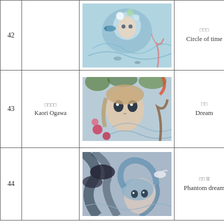| # | Artist | Artwork | Title |
| --- | --- | --- | --- |
| 42 |  | [artwork: Circle of time] | □□□
Circle of time |
| 43 | □□□□
Kaori Ogawa | [artwork: Dream] | □□
Dream |
| 44 |  | [artwork: Phantom dream II] | □□ II
Phantom dream |